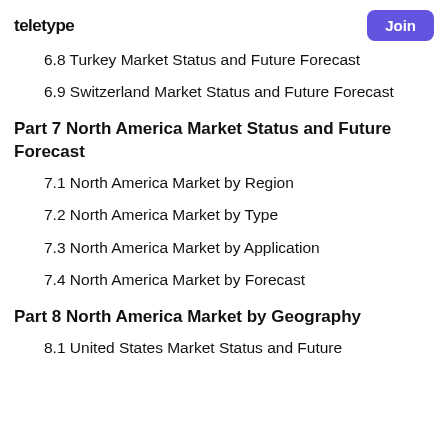teletype
6.8 Turkey Market Status and Future Forecast
6.9 Switzerland Market Status and Future Forecast
Part 7 North America Market Status and Future Forecast
7.1 North America Market by Region
7.2 North America Market by Type
7.3 North America Market by Application
7.4 North America Market by Forecast
Part 8 North America Market by Geography
8.1 United States Market Status and Future